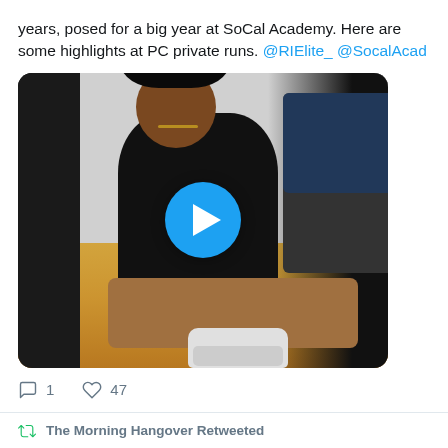years, posed for a big year at SoCal Academy. Here are some highlights at PC private runs. @RIElite_ @SocalAcad
[Figure (photo): A basketball player sitting on a gym floor tying his shoes. He is wearing a black t-shirt and shorts, with curly black hair. A play button overlay (blue circle with white triangle) is centered on the image. Bags and equipment are visible against a white cinderblock wall in the background.]
1   47
The Morning Hangover Retweeted